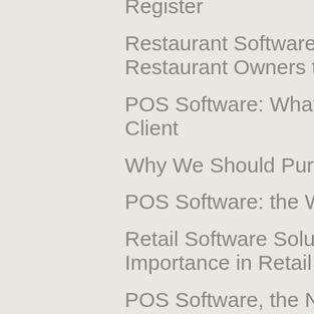Register
Restaurant Software: a Must for Restaurant Owners to Remain Competitive
POS Software: What Is Important for the Client
Why We Should Purchase POS Software?
POS Software: the Way of the Future
Retail Software Solutions: Its Role and Importance in Retail Industry
POS Software, the New Way to Shop
Point of Sale System and Its Impact on Different Stores
Should You Consider Using a Point of Sale System
Is It Good to Have a Restaurant Software System?
Pos Software Is a Must Have System If You Have a Business